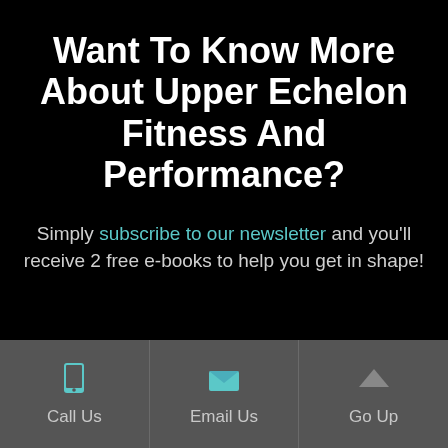Want To Know More About Upper Echelon Fitness And Performance?
Simply subscribe to our newsletter and you'll receive 2 free e-books to help you get in shape!
[Figure (infographic): Footer bar with three icons: phone icon labeled Call Us, envelope icon labeled Email Us, chevron-up icon labeled Go Up]
Call Us
Email Us
Go Up